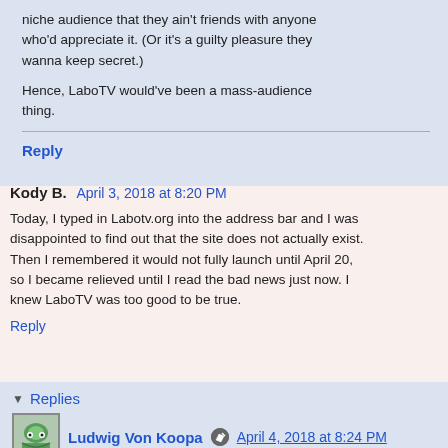niche audience that they ain't friends with anyone who'd appreciate it. (Or it's a guilty pleasure they wanna keep secret.)
Hence, LaboTV would've been a mass-audience thing.
Reply
Kody B.  April 3, 2018 at 8:20 PM
Today, I typed in Labotv.org into the address bar and I was disappointed to find out that the site does not actually exist. Then I remembered it would not fully launch until April 20, so I became relieved until I read the bad news just now. I knew LaboTV was too good to be true.
Reply
Replies
Ludwig Von Koopa  April 4, 2018 at 8:24 PM